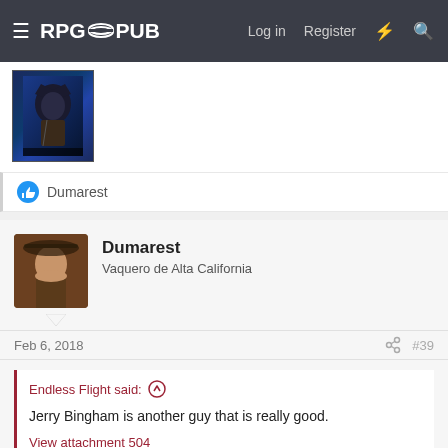RPGPub  Log in  Register
[Figure (screenshot): Batman comic book cover image thumbnail]
👍 Dumarest
Dumarest
Vaquero de Alta California
Feb 6, 2018  #39
Endless Flight said: ↑

Jerry Bingham is another guy that is really good.

View attachment 504